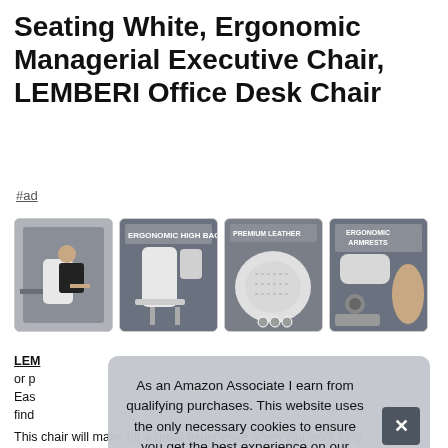Seating White, Ergonomic Managerial Executive Chair, LEMBERI Office Desk Chair
#ad
[Figure (photo): Four product photos of a white ergonomic office chair: person reclining in chair, ergonomic high backrest detail, premium leather close-up, ergonomic armrests detail]
LEMBERI ... or p... Eas... find...
This chair will make for a great experience when you work long
As an Amazon Associate I earn from qualifying purchases. This website uses the only necessary cookies to ensure you get the best experience on our website. More information